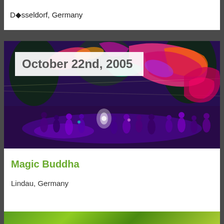Düsseldorf, Germany
[Figure (photo): Night festival scene with colorful illuminated decorations, crowd of people, and artistic installations overhead. Date overlay reads 'October 22nd, 2005'.]
Magic Buddha
Lindau, Germany
[Figure (photo): Partial view of a green and yellow image at the bottom of the page.]